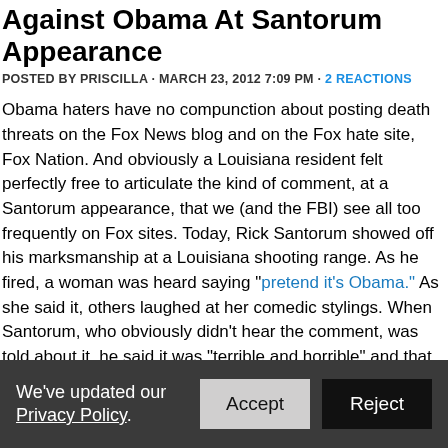Against Obama At Santorum Appearance
POSTED BY PRISCILLA · MARCH 23, 2012 7:09 PM · 2 REACTIONS
Obama haters have no compunction about posting death threats on the Fox News blog and on the Fox hate site, Fox Nation. And obviously a Louisiana resident felt perfectly free to articulate the kind of comment, at a Santorum appearance, that we (and the FBI) see all too frequently on Fox sites. Today, Rick Santorum showed off his marksmanship at a Louisiana shooting range. As he fired, a woman was heard saying "pretend it's Obama." As she said it, others laughed at her comedic stylings. When Santorum, who obviously didn't hear the comment, was told about it, he said it was "terrible and horrible" and that he was glad he didn't hear it. The story was all over the evil librul media at noon. But alleged Fox "news" anchor, Jon Scott was all smiles as he reported on Santorum's marksmanship on today's "Happening Now." No mention of the vile comment that would be branded as treasonous if shouted by a liberal and directed to a GOP president. That was at 11:49AM. Maybe he hadn't hea
We've updated our Privacy Policy. Accept Reject